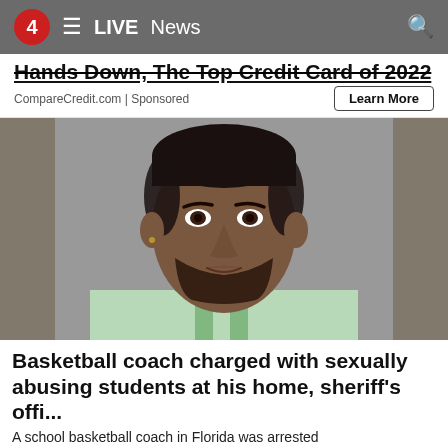4  ≡  LIVE  News
Hands Down, The Top Credit Card of 2022
CompareCredit.com | Sponsored
[Figure (photo): Mugshot of a man wearing a green and white jail uniform, against a gray background]
Basketball coach charged with sexually abusing students at his home, sheriff's offi...
A school basketball coach in Florida was arrested